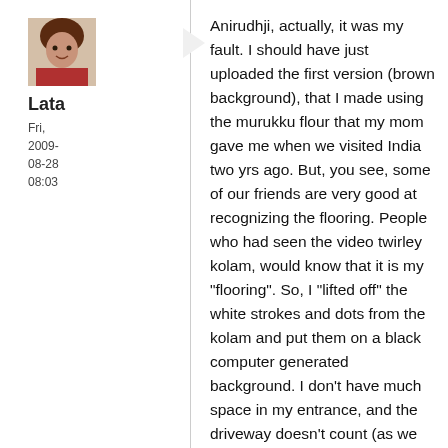[Figure (photo): Small avatar photo of a woman (Lata)]
Lata
Fri, 2009-08-28 08:03
Anirudhji, actually, it was my fault. I should have just uploaded the first version (brown background), that I made using the murukku flour that my mom gave me when we visited India two yrs ago. But, you see, some of our friends are very good at recognizing the flooring. People who had seen the video twirley kolam, would know that it is my "flooring". So, I "lifted off" the white strokes and dots from the kolam and put them on a black computer generated background. I don't have much space in my entrance, and the driveway doesn't count (as we park our vehicles outside the garage, for convenience). So, I use my coffee table for making kolams sometimes (not all are in my gallery).